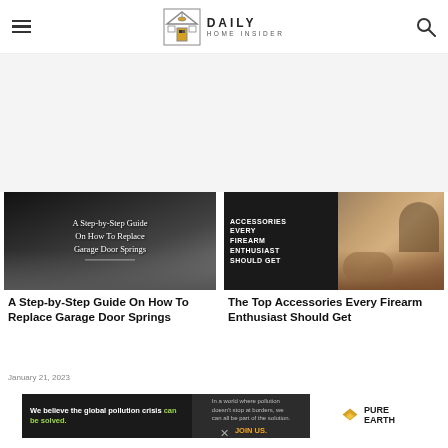Daily Home Insider
[Figure (screenshot): Thumbnail image with text overlay: A Step-by-Step Guide On How To Replace Garage Door Springs]
A Step-by-Step Guide On How To Replace Garage Door Springs
January 21, 2023
[Figure (photo): Thumbnail image showing a girl with a firearm and a dog with text overlay: ACCESSORIES EVERY FIREARM ENTHUSIAST SHOULD GET]
The Top Accessories Every Firearm Enthusiast Should Get
[Figure (illustration): Advertisement banner: We believe the global pollution crisis can be solved. Pure Earth. JOIN US.]